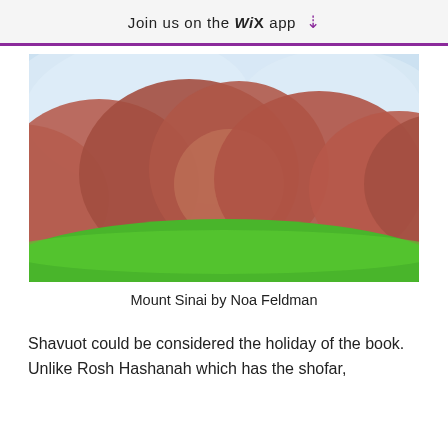Join us on the WiX app ↓
[Figure (illustration): A blurry illustration of Mount Sinai showing reddish-brown mountains with a bright green foreground and light blue sky.]
Mount Sinai by Noa Feldman
Shavuot could be considered the holiday of the book.  Unlike Rosh Hashanah which has the shofar,